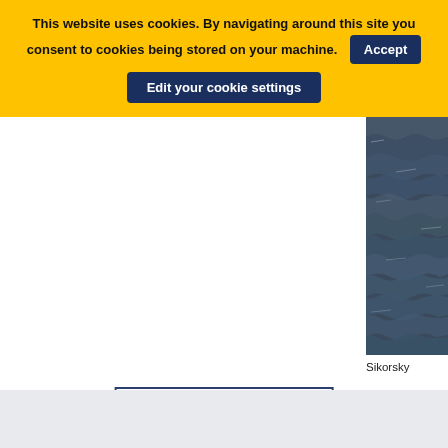This website uses cookies. By navigating around this site you consent to cookies being stored on your machine. Accept
Edit your cookie settings
[Figure (photo): Aerial or elevated view of ocean/sea water with waves, dark blue-grey tones]
Sikorsky
See more photos